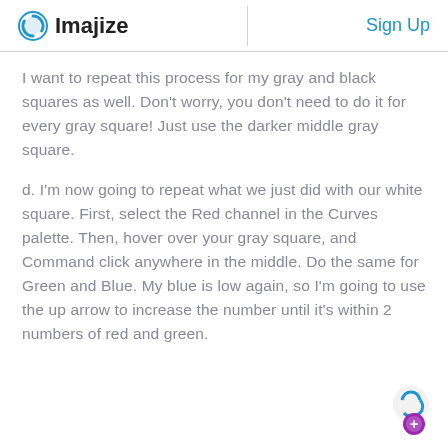Imajize | Sign Up
I want to repeat this process for my gray and black squares as well. Don't worry, you don't need to do it for every gray square! Just use the darker middle gray square.
d. I'm now going to repeat what we just did with our white square. First, select the Red channel in the Curves palette. Then, hover over your gray square, and Command click anywhere in the middle. Do the same for Green and Blue. My blue is low again, so I'm going to use the up arrow to increase the number until it's within 2 numbers of red and green.